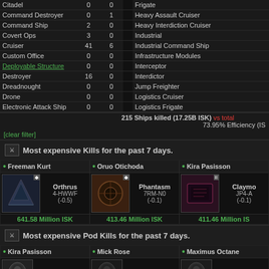| Ship Type | Kills | Losses | Ship Type | Kills | Losses |
| --- | --- | --- | --- | --- | --- |
| Citadel | 0 | 0 | Frigate |  |  |
| Command Destroyer | 0 | 1 | Heavy Assault Cruiser |  |  |
| Command Ship | 2 | 0 | Heavy Interdiction Cruiser |  |  |
| Covert Ops | 3 | 0 | Industrial |  |  |
| Cruiser | 41 | 6 | Industrial Command Ship |  |  |
| Custom Office | 0 | 0 | Infrastructure Modules |  |  |
| Deployable Structure | 0 | 0 | Interceptor |  |  |
| Destroyer | 16 | 0 | Interdictor |  |  |
| Dreadnought | 0 | 0 | Jump Freighter |  |  |
| Drone | 0 | 0 | Logistics Cruiser |  |  |
| Electronic Attack Ship | 0 | 0 | Logistics Frigate |  |  |
215 Ships killed (17.25B ISK)  73.95% Efficiency (IS
[clear filter]
Most expensive Kills for the past 7 days.
| Freeman Kurt | Oruo Otichoda | Kira Pasisson |
| --- | --- | --- |
| Orthrus | Phantasm | Claymo |
| 4-HWWF (-0.5) | 7RM-N0 (-0.1) | JP4-A (-0.1) |
| 641.58 Million ISK | 413.46 Million ISK | 411.46 Million IS |
Most expensive Pod Kills for the past 7 days.
| Kira Pasisson | Mick Rose | Maximus Octane |
| --- | --- | --- |
| Capsule | Capsule | Capsule |
| JP4-AA | KLY-C0 | 7RM |